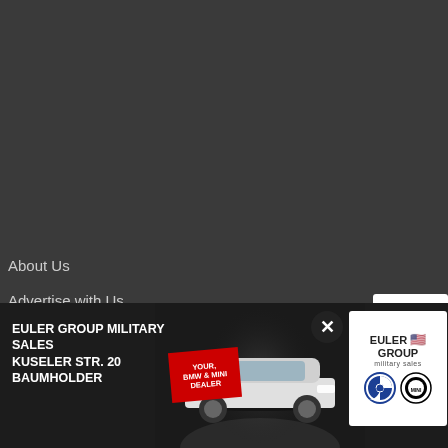About Us
Advertise with Us
Contact Us
KMC Reads the Kaiserslautern American
Archives
Disclaimer
[Figure (screenshot): reCAPTCHA widget with checkbox and Google logo]
[Figure (advertisement): Euler Group Military Sales advertisement — Kuseler Str. 20, Baumholder — Your BMW & MINI Dealer — with car image and BMW/MINI logos]
We use de
provide media for our customers and ensure...